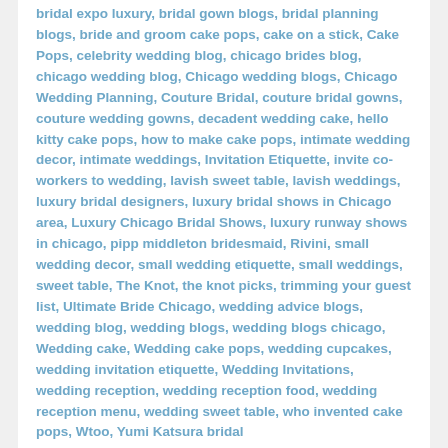bridal expo luxury, bridal gown blogs, bridal planning blogs, bride and groom cake pops, cake on a stick, Cake Pops, celebrity wedding blog, chicago brides blog, chicago wedding blog, Chicago wedding blogs, Chicago Wedding Planning, Couture Bridal, couture bridal gowns, couture wedding gowns, decadent wedding cake, hello kitty cake pops, how to make cake pops, intimate wedding decor, intimate weddings, Invitation Etiquette, invite co-workers to wedding, lavish sweet table, lavish weddings, luxury bridal designers, luxury bridal shows in Chicago area, Luxury Chicago Bridal Shows, luxury runway shows in chicago, pipp middleton bridesmaid, Rivini, small wedding decor, small wedding etiquette, small weddings, sweet table, The Knot, the knot picks, trimming your guest list, Ultimate Bride Chicago, wedding advice blogs, wedding blog, wedding blogs, wedding blogs chicago, Wedding cake, Wedding cake pops, wedding cupcakes, wedding invitation etiquette, Wedding Invitations, wedding reception, wedding reception food, wedding reception menu, wedding sweet table, who invented cake pops, Wtoo, Yumi Katsura bridal
Adding Up The Add-ons: